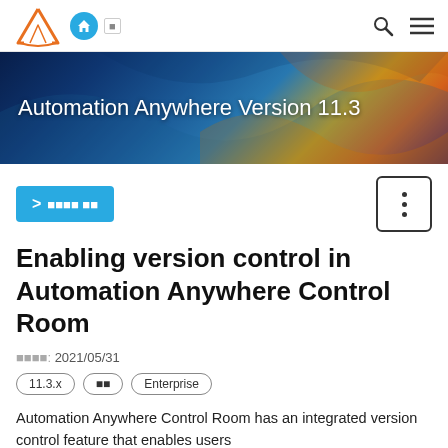Automation Anywhere Version 11.3
[Figure (logo): Automation Anywhere logo - orange letter A and navigation bar with home icon and search/menu icons]
[Figure (illustration): Hero banner with colourful abstract fluid art background in blue, gold and purple tones]
Automation Anywhere Version 11.3
> [breadcrumb navigation]
Enabling version control in Automation Anywhere Control Room
[Japanese label]: 2021/05/31
11.3.x
[Japanese tag]
Enterprise
Automation Anywhere Control Room has an integrated version control feature that enables users